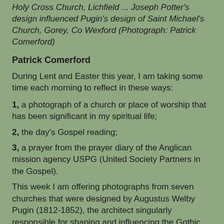Holy Cross Church, Lichfield ... Joseph Potter's design influenced Pugin's design of Saint Michael's Church, Gorey, Co Wexford (Photograph: Patrick Comerford)
Patrick Comerford
During Lent and Easter this year, I am taking some time each morning to reflect in these ways:
1, a photograph of a church or place of worship that has been significant in my spiritual life;
2, the day's Gospel reading;
3, a prayer from the prayer diary of the Anglican mission agency USPG (United Society Partners in the Gospel).
This week I am offering photographs from seven churches that were designed by Augustus Welby Pugin (1812-1852), the architect singularly responsible for shaping and influencing the Gothic revival in church architecture on these islands.